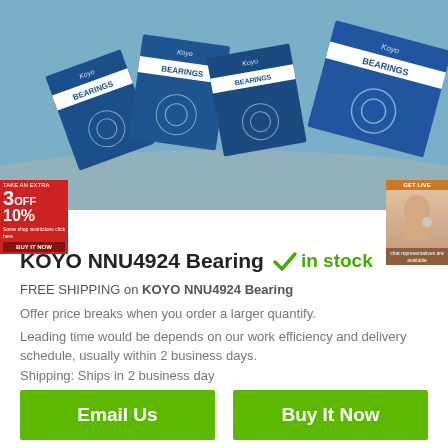[Figure (photo): Product photo showing multiple Koyo brand bearing boxes stacked together with BEARINGS text visible]
KOYO NNU4924 Bearing  ✓ in stock
FREE SHIPPING on KOYO NNU4924 Bearing
Offer price breaks when you order a larger quantify.
Leading time would be depends on our work efficiency and delivery schedule, usually within 2 business days.
Shipping: Ships in 2 business day
Email Us
Buy It Now
1) Quality Assurance: Official Authorized For 100% Guaranteed As Described